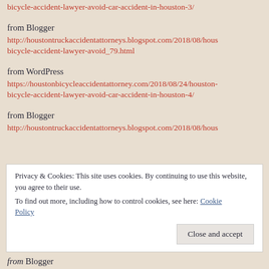bicycle-accident-lawyer-avoid-car-accident-in-houston-3/
from Blogger
http://houstontruckaccidentattorneys.blogspot.com/2018/08/hous bicycle-accident-lawyer-avoid_79.html
from WordPress
https://houstonbicycleaccidentattorney.com/2018/08/24/houston- bicycle-accident-lawyer-avoid-car-accident-in-houston-4/
from Blogger
http://houstontruckaccidentattorneys.blogspot.com/2018/08/hous
Privacy & Cookies: This site uses cookies. By continuing to use this website, you agree to their use. To find out more, including how to control cookies, see here: Cookie Policy
Close and accept
from Blogger